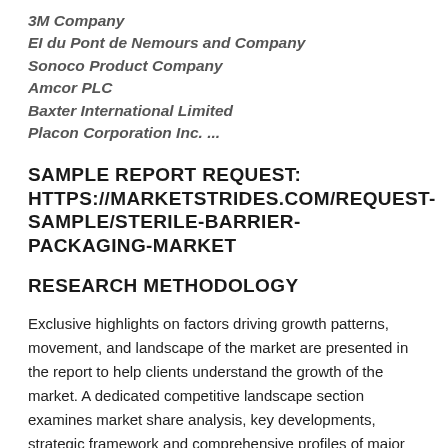3M Company
EI du Pont de Nemours and Company
Sonoco Product Company
Amcor PLC
Baxter International Limited
Placon Corporation Inc. ...
SAMPLE REPORT REQUEST: HTTPS://MARKETSTRIDES.COM/REQUEST-SAMPLE/STERILE-BARRIER-PACKAGING-MARKET
RESEARCH METHODOLOGY
Exclusive highlights on factors driving growth patterns, movement, and landscape of the market are presented in the report to help clients understand the growth of the market. A dedicated competitive landscape section examines market share analysis, key developments, strategic framework and comprehensive profiles of major